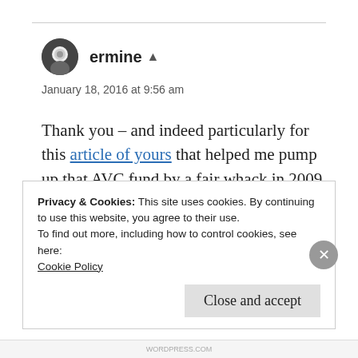ermine
January 18, 2016 at 9:56 am
Thank you – and indeed particularly for this article of yours that helped me pump up that AVC fund by a fair whack in 2009. It may need a dusting off and rerunning sometime this year, hopefully!
Privacy & Cookies: This site uses cookies. By continuing to use this website, you agree to their use.
To find out more, including how to control cookies, see here:
Cookie Policy
Close and accept